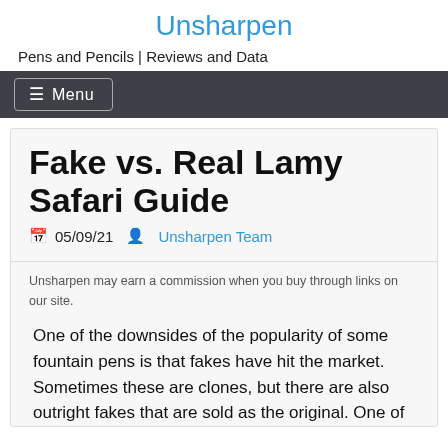Unsharpen
Pens and Pencils | Reviews and Data
☰ Menu
Fake vs. Real Lamy Safari Guide
05/09/21 Unsharpen Team
Unsharpen may earn a commission when you buy through links on our site.
One of the downsides of the popularity of some fountain pens is that fakes have hit the market. Sometimes these are clones, but there are also outright fakes that are sold as the original. One of the ones that has been affected is the Lamy Safari.